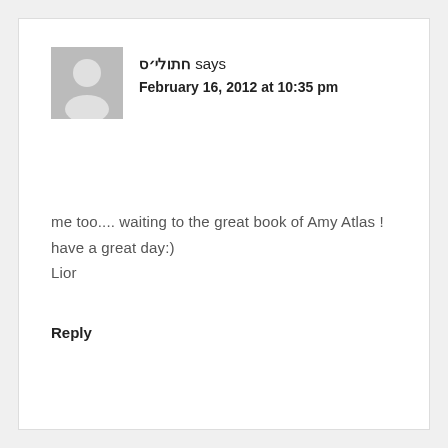חתולי׳ס says
February 16, 2012 at 10:35 pm
me too.... waiting to the great book of Amy Atlas !
have a great day:)
Lior
Reply